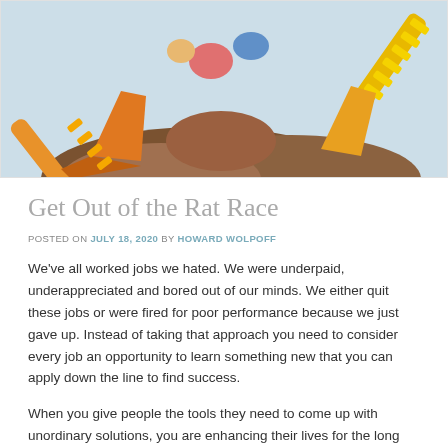[Figure (illustration): Colorful illustration showing construction excavator machinery with orange and yellow equipment digging into brown mounds of earth, on a light blue-grey background.]
Get Out of the Rat Race
POSTED ON JULY 18, 2020 BY HOWARD WOLPOFF
We’ve all worked jobs we hated. We were underpaid, underappreciated and bored out of our minds. We either quit these jobs or were fired for poor performance because we just gave up. Instead of taking that approach you need to consider every job an opportunity to learn something new that you can apply down the line to find success.
When you give people the tools they need to come up with unordinary solutions, you are enhancing their lives for the long run. You need to take this approach. What if one of your terrible jobs had been one with no pay at all and you needed to come up